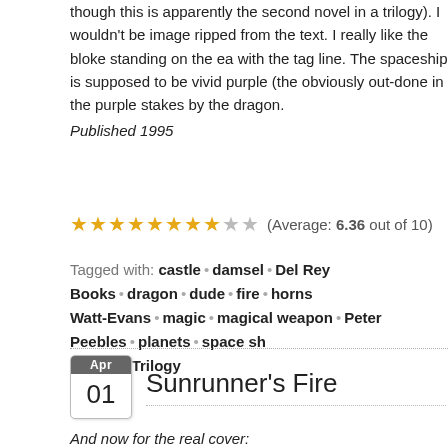though this is apparently the second novel in a trilogy). I wouldn't be image ripped from the text. I really like the bloke standing on the ea with the tag line. The spaceship is supposed to be vivid purple (the obviously out-done in the purple stakes by the dragon.
Published 1995
(Average: 6.36 out of 10)
Tagged with: castle • damsel • Del Rey Books • dragon • dude • fire • horns • Watt-Evans • magic • magical weapon • Peter Peebles • planets • space sh • Shadow Trilogy
Sunrunner's Fire
And now for the real cover: